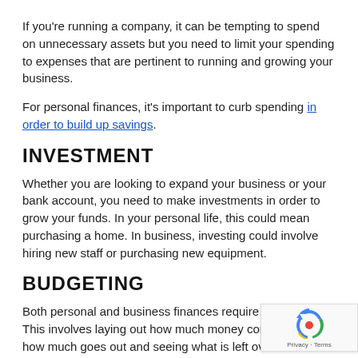If you're running a company, it can be tempting to spend on unnecessary assets but you need to limit your spending to expenses that are pertinent to running and growing your business.
For personal finances, it's important to curb spending in order to build up savings.
INVESTMENT
Whether you are looking to expand your business or your bank account, you need to make investments in order to grow your funds. In your personal life, this could mean purchasing a home. In business, investing could involve hiring new staff or purchasing new equipment.
BUDGETING
Both personal and business finances require budgeting. This involves laying out how much money comes in versus how much goes out and seeing what is left over.